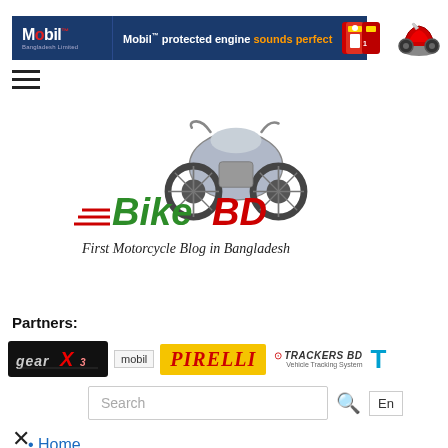[Figure (screenshot): Mobil banner advertisement: dark blue background with Mobil logo, text 'Mobil protected engine sounds perfect', oil bottle and motorcycle images on right]
[Figure (logo): BikeBD logo - First Motorcycle Blog in Bangladesh, with stylized motorcycle graphic]
Partners:
[Figure (logo): Partner logos row: GearX, mobil, Pirelli, Trackers BD, and partially visible logo]
[Figure (screenshot): Search bar with placeholder 'Search', search icon, and 'En' language button]
Home